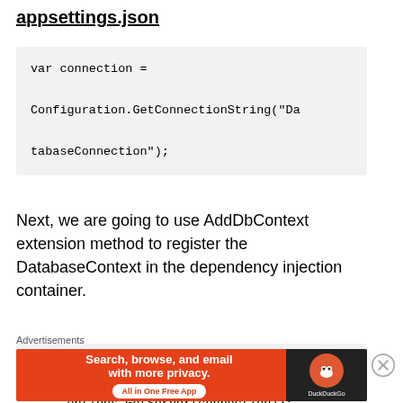appsettings.json
var connection =
Configuration.GetConnectionString("DatabaseConnection");
Next, we are going to use AddDbContext extension method to register the DatabaseContext in the dependency injection container.
services.AddDbContext<DatabaseContext>(options =>
    .options.UseSqlServer(connection));
Advertisements